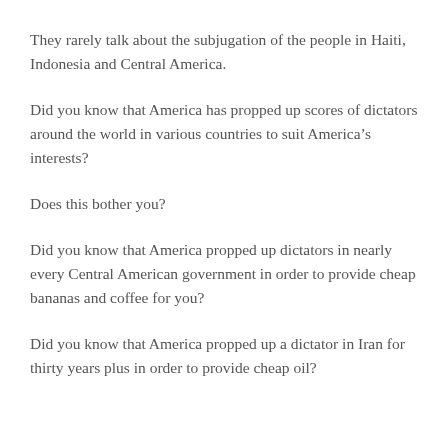They rarely talk about the subjugation of the people in Haiti, Indonesia and Central America.
Did you know that America has propped up scores of dictators around the world in various countries to suit America’s interests?
Does this bother you?
Did you know that America propped up dictators in nearly every Central American government in order to provide cheap bananas and coffee for you?
Did you know that America propped up a dictator in Iran for thirty years plus in order to provide cheap oil?